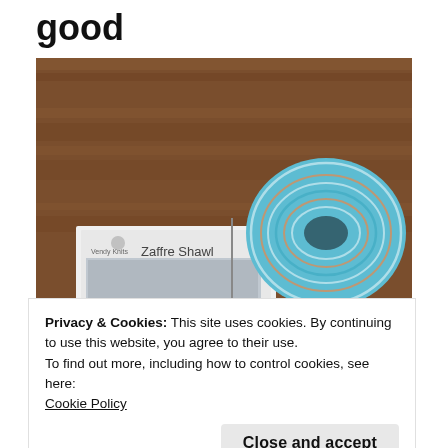good
[Figure (photo): A ball of multicolored (teal, white, orange) yarn resting on a wooden surface next to a knitting pattern booklet labeled 'Zaffre Shawl' by Vendy Knits, with knitting needles partially visible at the bottom right.]
Privacy & Cookies: This site uses cookies. By continuing to use this website, you agree to their use.
To find out more, including how to control cookies, see here: Cookie Policy
[Figure (photo): Partial view of another photo at the bottom of the page, showing what appears to be a knitting pattern or project.]